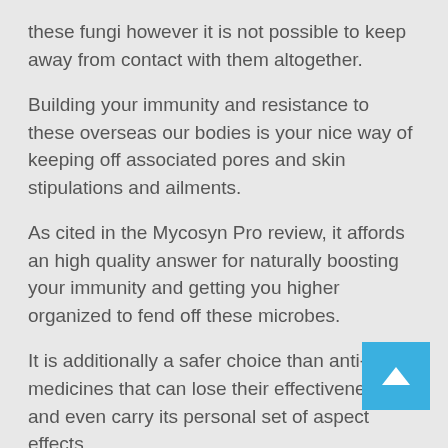these fungi however it is not possible to keep away from contact with them altogether.
Building your immunity and resistance to these overseas our bodies is your nice way of keeping off associated pores and skin stipulations and ailments.
As cited in the Mycosyn Pro review, it affords an high quality answer for naturally boosting your immunity and getting you higher organized to fend off these microbes.
It is additionally a safer choice than anti-fungal medicines that can lose their effectiveness and even carry its personal set of aspect effects.
If you have any fungal-related issues with your nail health we suggest you give this program a try.